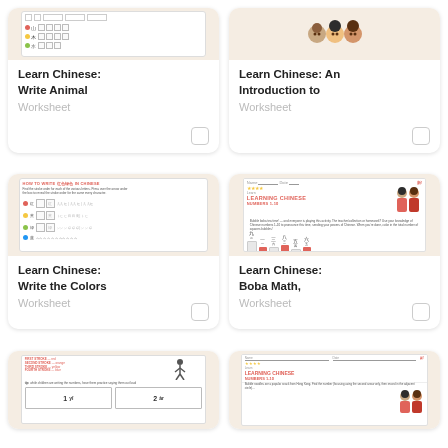[Figure (screenshot): Thumbnail of 'Learn Chinese: Write Animal' worksheet showing grid lines and Chinese characters]
Learn Chinese: Write Animal
Worksheet
[Figure (screenshot): Thumbnail of 'Learn Chinese: An Introduction to' worksheet showing cartoon diverse children faces]
Learn Chinese: An Introduction to
Worksheet
[Figure (screenshot): Thumbnail of 'Learn Chinese: Write the Colors' worksheet showing colored dots and practice boxes]
Learn Chinese: Write the Colors
Worksheet
[Figure (screenshot): Thumbnail of 'Learn Chinese: Boba Math' worksheet showing LEARNING CHINESE NUMBERS 1-10 title and bar chart with Chinese characters]
Learn Chinese: Boba Math,
Worksheet
[Figure (screenshot): Partial thumbnail of a colors worksheet showing '1 yi' and '2 ar' number boxes]
[Figure (screenshot): Partial thumbnail of Learning Chinese Numbers 1-10 worksheet with cartoon children]